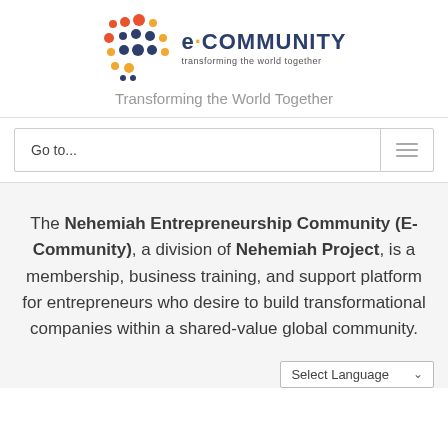[Figure (logo): e-Community logo with colorful dot grid and text 'e·COMMUNITY transforming the world together']
Transforming the World Together
Go to...
The Nehemiah Entrepreneurship Community (E-Community), a division of Nehemiah Project, is a membership, business training, and support platform for entrepreneurs who desire to build transformational companies within a shared-value global community.
Select Language